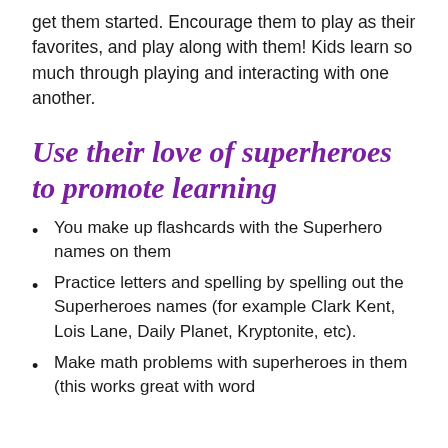get them started. Encourage them to play as their favorites, and play along with them! Kids learn so much through playing and interacting with one another.
Use their love of superheroes to promote learning
You make up flashcards with the Superhero names on them
Practice letters and spelling by spelling out the Superheroes names (for example Clark Kent, Lois Lane, Daily Planet, Kryptonite, etc).
Make math problems with superheroes in them (this works great with word